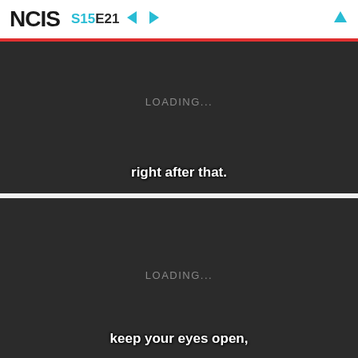NCIS S15 E21
[Figure (screenshot): Dark video frame loading screen with subtitle text 'right after that.']
[Figure (screenshot): Dark video frame loading screen with subtitle text 'keep your eyes open,']